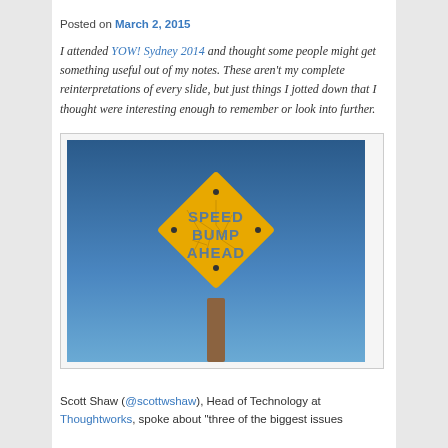Posted on March 2, 2015
I attended YOW! Sydney 2014 and thought some people might get something useful out of my notes. These aren't my complete reinterpretations of every slide, but just things I jotted down that I thought were interesting enough to remember or look into further.
[Figure (photo): A yellow diamond-shaped road sign reading 'SPEED BUMP AHEAD', cracked and weathered, mounted on a post against a blue sky background.]
Scott Shaw (@scottwshaw), Head of Technology at Thoughtworks, spoke about "three of the biggest issues"